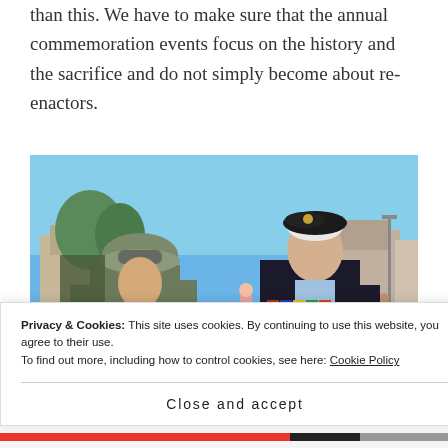than this. We have to make sure that the annual commemoration events focus on the history and the sacrifice and do not simply become about re-enactors.
[Figure (photo): Outdoor photograph of two men facing each other and talking. On the left is a person dressed in WWII-era military uniform with helmet and goggles. On the right is an elderly man wearing a black beret and dark blazer with military medals and ribbons on his chest. They appear to be at a commemoration event in a town square with buildings and people in the background under a clear blue sky.]
Privacy & Cookies: This site uses cookies. By continuing to use this website, you agree to their use.
To find out more, including how to control cookies, see here: Cookie Policy
Close and accept